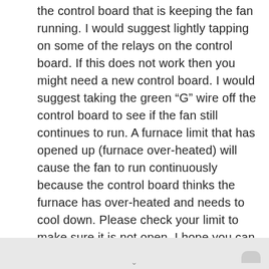the control board that is keeping the fan running. I would suggest lightly tapping on some of the relays on the control board. If this does not work then you might need a new control board. I would suggest taking the green “G” wire off the control board to see if the fan still continues to run. A furnace limit that has opened up (furnace over-heated) will cause the fan to run continuously because the control board thinks the furnace has over-heated and needs to cool down. Please check your limit to make sure it is not open. I hope you can easily find the problem. If you want me to look up parts then please send your furnace’s model number to our gmail email account: